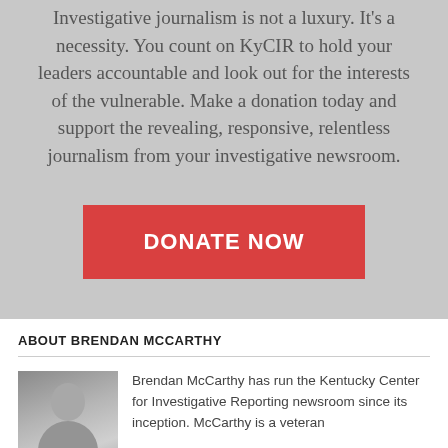Investigative journalism is not a luxury. It's a necessity. You count on KyCIR to hold your leaders accountable and look out for the interests of the vulnerable. Make a donation today and support the revealing, responsive, relentless journalism from your investigative newsroom.
DONATE NOW
ABOUT BRENDAN MCCARTHY
[Figure (photo): Headshot photo of Brendan McCarthy]
Brendan McCarthy has run the Kentucky Center for Investigative Reporting newsroom since its inception. McCarthy is a veteran